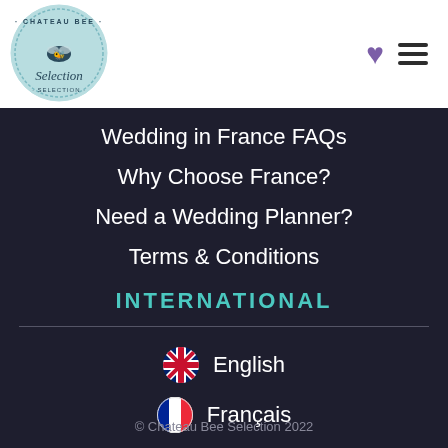[Figure (logo): Chateau Bee Selection circular logo with bee illustration and cursive script]
Wedding in France FAQs
Why Choose France?
Need a Wedding Planner?
Terms & Conditions
INTERNATIONAL
🇬🇧 English
🇫🇷 Français
© Chateau Bee Selection 2022